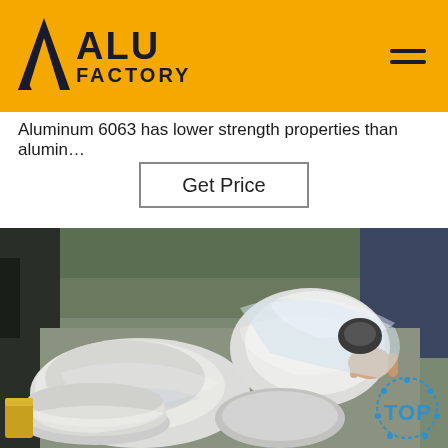ALU FACTORY
Aluminum 6063 has lower strength properties than alumin…
Get Price
[Figure (photo): Factory worker handling wrapped aluminum circular/disc parts, showing multiple aluminum discs wrapped in plastic film on a workbench in a manufacturing facility. A blue dotted TOP badge is visible in the lower right corner.]